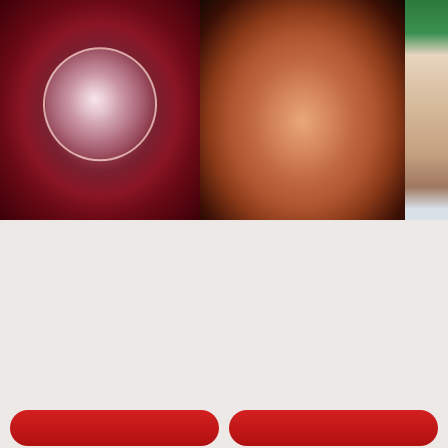[Figure (photo): Three medical/ultrasound images side by side: left shows an early embryo in a circular embryoscopy view with reddish background, center shows a 3D ultrasound of a fetus in profile curled position against dark background, right shows a partial view of what appears to be a newborn baby with green clothing visible]
See for Yourself